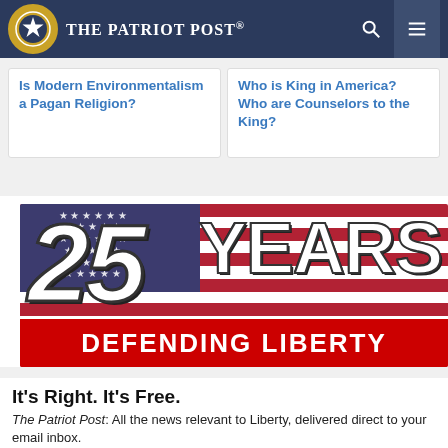The Patriot Post
Is Modern Environmentalism a Pagan Religion?
Who is King in America? Who are Counselors to the King?
[Figure (illustration): 25 Years Defending Liberty banner with American flag background]
It's Right. It's Free.
The Patriot Post: All the news relevant to Liberty, delivered direct to your email inbox.